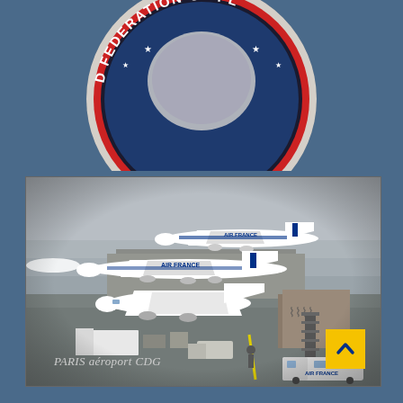[Figure (photo): Circular embroidered patch with red border and white text reading 'D FEDERATION OF PL' visible, with stars on blue background, partially cropped at top of page]
[Figure (photo): Photograph of Paris CDG airport tarmac with multiple Air France aircraft including Boeing 747s, ground vehicles, jet bridges, and airport terminal buildings under overcast sky]
PARIS aéroport CDG